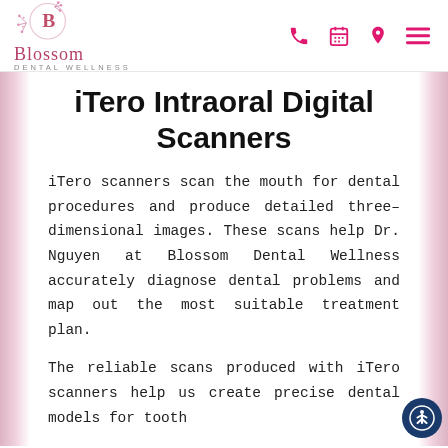Blossom Dental Wellness
iTero Intraoral Digital Scanners
iTero scanners scan the mouth for dental procedures and produce detailed three-dimensional images. These scans help Dr. Nguyen at Blossom Dental Wellness accurately diagnose dental problems and map out the most suitable treatment plan.
The reliable scans produced with iTero scanners help us create precise dental models for tooth